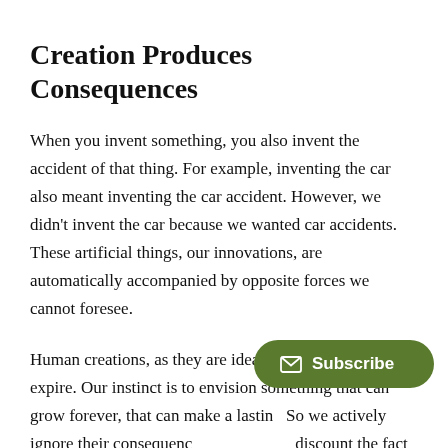Creation Produces Consequences
When you invent something, you also invent the accident of that thing. For example, inventing the car also meant inventing the car accident. However, we didn't invent the car because we wanted car accidents. These artificial things, our innovations, are automatically accompanied by opposite forces we cannot foresee.
Human creations, as they are ideated, are not meant to expire. Our instinct is to envision something that can grow forever, that can make a lasting… So we actively ignore their consequences, and quietly discount the fact that the good they bring might —or